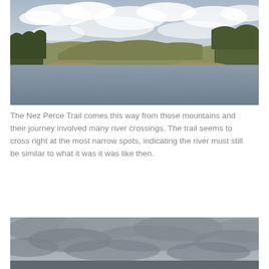[Figure (photo): River landscape photo showing a wide calm river with low hills, scrubby vegetation, and a cloudy sky in the background. Taken from water level looking upstream.]
The Nez Perce Trail comes this way from those mountains and their journey involved many river crossings. The trail seems to cross right at the most narrow spots, indicating the river must still be similar to what it was it was like then.
[Figure (photo): Partial photo showing an overcast grey cloudy sky, bottom portion cut off at page edge.]